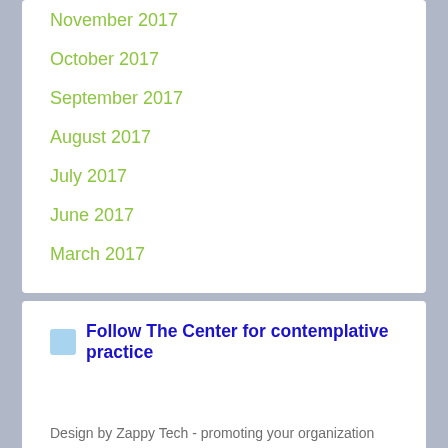November 2017
October 2017
September 2017
August 2017
July 2017
June 2017
March 2017
Follow The Center for contemplative practice
Design by Zappy Tech - promoting your organization through thoughtful, creative communications.